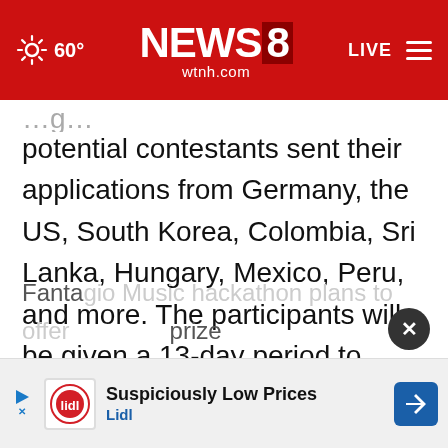NEWS8 wtnh.com — 60° LIVE
potential contestants sent their applications from Germany, the US, South Korea, Colombia, Sri Lanka, Hungary, Mexico, Peru, and more. The participants will be given a 13-day period to compose their song starting today, April 28th, to the 10th of next month. The winner will be selected on the 19th of next month after an internal assessment by Fantagio.
Fantagio Music hackathon plans to offer a prize fund… final